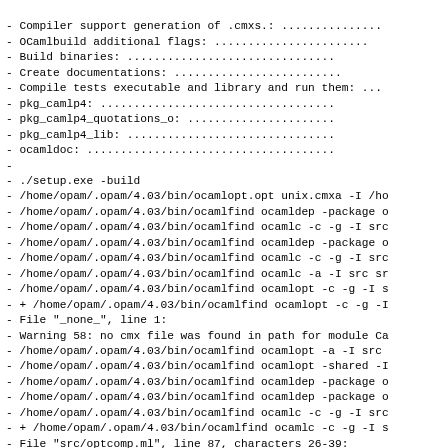- Compiler support generation of .cmxs.: ...............
- OCamlbuild additional flags: .......................
- Build binaries: ...............................
- Create documentations: .........................
- Compile tests executable and library and run them: ...
- pkg_camlp4: ...................................
- pkg_camlp4_quotations_o: ......................
- pkg_camlp4_lib: ...............................
- ocamldoc: .....................................
-
- ./setup.exe -build
- /home/opam/.opam/4.03/bin/ocamlopt.opt unix.cmxa -I /ho
- /home/opam/.opam/4.03/bin/ocamlfind ocamldep -package o
- /home/opam/.opam/4.03/bin/ocamlfind ocamlc -c -g -I src
- /home/opam/.opam/4.03/bin/ocamlfind ocamldep -package o
- /home/opam/.opam/4.03/bin/ocamlfind ocamlc -c -g -I src
- /home/opam/.opam/4.03/bin/ocamlfind ocamlc -a -I src sr
- /home/opam/.opam/4.03/bin/ocamlfind ocamlopt -c -g -I s
- + /home/opam/.opam/4.03/bin/ocamlfind ocamlopt -c -g -I
- File "_none_", line 1:
- Warning 58: no cmx file was found in path for module Ca
- /home/opam/.opam/4.03/bin/ocamlfind ocamlopt -a -I src
- /home/opam/.opam/4.03/bin/ocamlfind ocamlopt -shared -I
- /home/opam/.opam/4.03/bin/ocamlfind ocamldep -package o
- /home/opam/.opam/4.03/bin/ocamlfind ocamldep -package o
- /home/opam/.opam/4.03/bin/ocamlfind ocamlc -c -g -I src
- + /home/opam/.opam/4.03/bin/ocamlfind ocamlc -c -g -I s
- File "src/optcomp.ml", line 87, characters 26-39:
- Warning 3: deprecated: String.create
- Use Bytes.create instead.